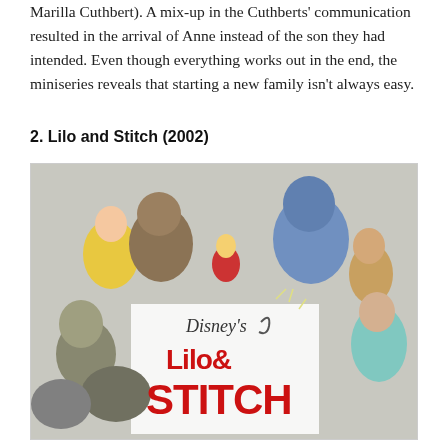Marilla Cuthbert). A mix-up in the Cuthberts' communication resulted in the arrival of Anne instead of the son they had intended. Even though everything works out in the end, the miniseries reveals that starting a new family isn't always easy.
2. Lilo and Stitch (2002)
[Figure (illustration): Disney's Lilo & Stitch promotional image featuring various Disney animated characters including Belle, Beast, Pinocchio, Genie, Aladdin, Jasmine, Rafiki, and others surrounding the Disney's Lilo & Stitch logo text in red.]